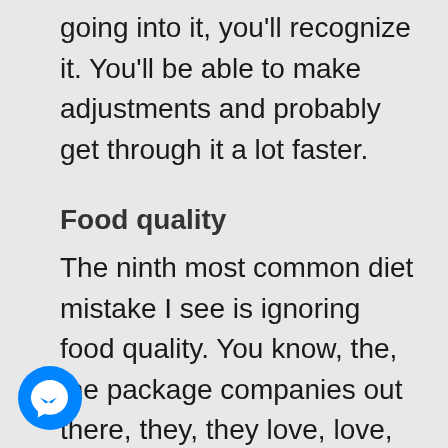going into it, you'll recognize it. You'll be able to make adjustments and probably get through it a lot faster.
Food quality
The ninth most common diet mistake I see is ignoring food quality. You know, the, the package companies out there, they, they love, love,
[Figure (logo): Facebook Messenger logo — blue circle with white lightning bolt chat icon]